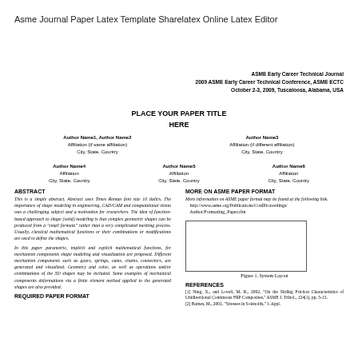Asme Journal Paper Latex Template Sharelatex Online Latex Editor
ASME Early Career Technical Journal
2009 ASME Early Career Technical Conference, ASME ECTC
October 2-3, 2009, Tuscaloosa, Alabama, USA
PLACE YOUR PAPER TITLE HERE
Author Name1, Author Name2
Affiliation (if same affiliation)
City, State, Country
Author Name3
Affiliation (if different affiliation)
City, State, Country
Author Name4
Affiliation
City, State, Country
Author Name5
Affiliation
City, State, Country
Author Name6
Affiliation
City, State, Country
ABSTRACT
This is a simple abstract. Abstract uses Times Roman font size 10 italics. The importance of shape modeling in engineering, CAD/CAM and computational vision was a challenging subject and a motivation for researchers. The idea of function-based approach to shape (solid) modeling is that complex geometric shapes can be produced from a "small formula" rather than a very complicated meshing process. Usually, classical mathematical functions or their combinations or modifications are used to define the shapes.

In this paper parametric, implicit and explicit mathematical functions, for mechanism components shape modeling and visualization are proposed. Different mechanism components such as gears, springs, cams, chains, connectors, are generated and visualized. Geometry and color, as well as operations and/or combinations of the 3D shapes may be included. Some examples of mechanical components deformations via a finite element method applied to the generated shapes are also provided.
REQUIRED PAPER FORMAT
MORE ON ASME PAPER FORMAT
More information on ASME paper format may be found at the following link.
http://www.asme.org/Publications/ConfProceedings/Author/Formatting_Paper.cfm
[Figure (other): Empty figure box placeholder labeled Figure 1. System Layout]
Figure 1. System Layout
REFERENCES
[1] Ning, X., and Lovell, M. R., 2002, "On the Sliding Friction Characteristics of Unidirectional Continuous FRP Composites," ASME J. Tribol., 124(1), pp. 5-13.
[2] Barnes, M., 2001, "Stresses in Solenoids," J. Appl.